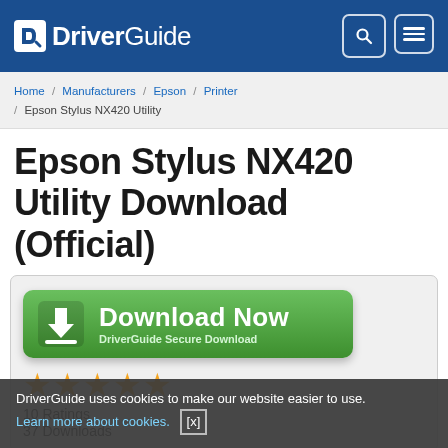DriverGuide
Home / Manufacturers / Epson / Printer / Epson Stylus NX420 Utility
Epson Stylus NX420 Utility Download (Official)
[Figure (screenshot): Green Download Now button with download arrow icon and text 'DriverGuide Secure Download']
10 Ratings
37 Downloads
DriverGuide uses cookies to make our website easier to use. Learn more about cookies. [x]